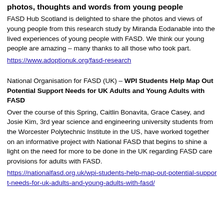photos, thoughts and words from young people
FASD Hub Scotland is delighted to share the photos and views of young people from this research study by Miranda Eodanable into the lived experiences of young people with FASD. We think our young people are amazing – many thanks to all those who took part.
https://www.adoptionuk.org/fasd-research
National Organisation for FASD (UK) – WPI Students Help Map Out Potential Support Needs for UK Adults and Young Adults with FASD
Over the course of this Spring, Caitlin Bonavita, Grace Casey, and Josie Kim, 3rd year science and engineering university students from the Worcester Polytechnic Institute in the US, have worked together on an informative project with National FASD that begins to shine a light on the need for more to be done in the UK regarding FASD care provisions for adults with FASD.
https://nationalfasd.org.uk/wpi-students-help-map-out-potential-support-needs-for-uk-adults-and-young-adults-with-fasd/